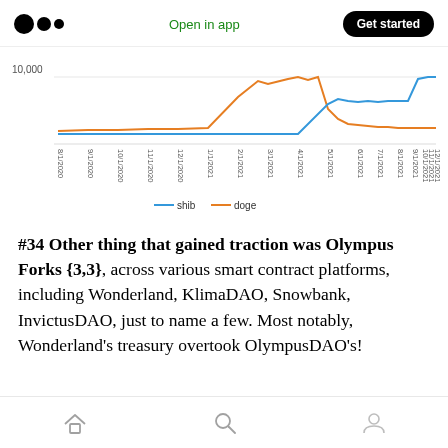Medium logo | Open in app | Get started
[Figure (line-chart): Line chart showing shib (blue) and doge (orange) price trends from 8/1/2020 to 12/1/2021, with a spike around 2/1/2021–5/1/2021 for doge and a spike around 10/1/2021 for shib. Y-axis label shows 10,000.]
#34 Other thing that gained traction was Olympus Forks {3,3}, across various smart contract platforms, including Wonderland, KlimaDAO, Snowbank, InvictusDAO, just to name a few. Most notably, Wonderland's treasury overtook OlympusDAO's!
Home | Search | Profile